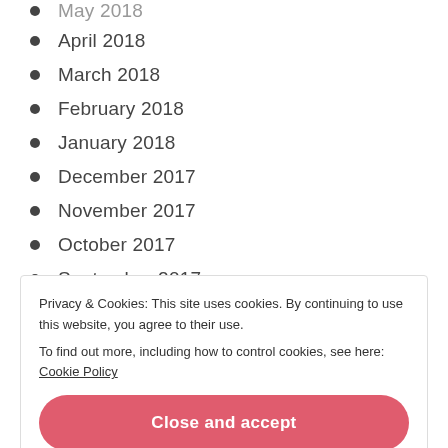April 2018
March 2018
February 2018
January 2018
December 2017
November 2017
October 2017
September 2017
August 2017
July 2017
Privacy & Cookies: This site uses cookies. By continuing to use this website, you agree to their use.
To find out more, including how to control cookies, see here: Cookie Policy
Close and accept
December 2016